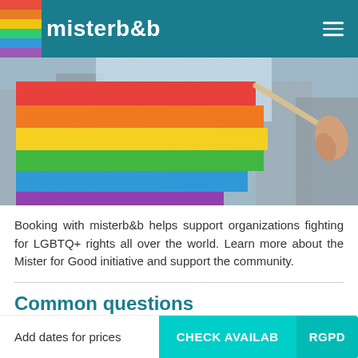misterb&b
[Figure (photo): Rainbow pride flag being held up against a blurred urban background with blue sky]
Booking with misterb&b helps support organizations fighting for LGBTQ+ rights all over the world. Learn more about the Mister for Good initiative and support the community.
Common questions
What if I have questions about the property before I book?
Add dates for prices   CHECK AVAILAB   RGPD